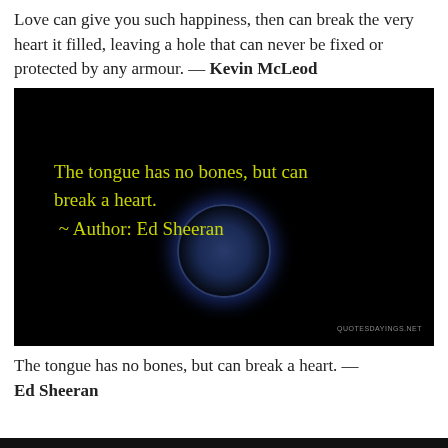Love can give you such happiness, then can break the very heart it filled, leaving a hole that can never be fixed or protected by any armour. — Kevin McLeod
[Figure (photo): Dark black background image with a dimly lit analog clock at the bottom center. Yellow-green text reads: 'The tongue has no bones, but can break a heart. ~ Author: Ed Sheeran'. Watermark reads 'QUOTESDAYINGS.NET' at bottom right.]
The tongue has no bones, but can break a heart. — Ed Sheeran